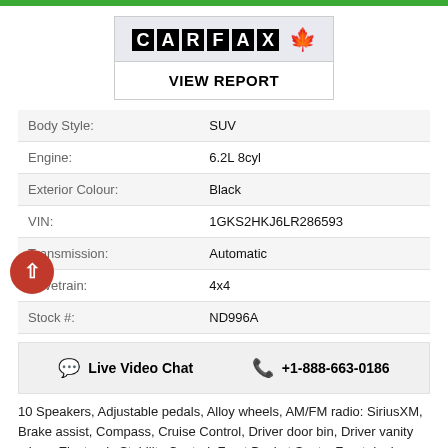[Figure (logo): CARFAX Canada logo with maple leaf and VIEW REPORT button]
| Body Style: | SUV |
| Engine: | 6.2L 8cyl |
| Exterior Colour: | Black |
| VIN: | 1GKS2HKJ6LR286593 |
| Transmission: | Automatic |
| Drivetrain: | 4x4 |
| Stock #: | ND996A |
Live Video Chat   +1-888-663-0186
10 Speakers, Adjustable pedals, Alloy wheels, AM/FM radio: SiriusXM, Brake assist, Compass, Cruise Control, Driver door bin, Driver vanity mirror, Electronic Stability Control, Front Bucket Seats, Front dual zone A/C, Front fog lights, Front reading lights, Fully automatic h.....Read More